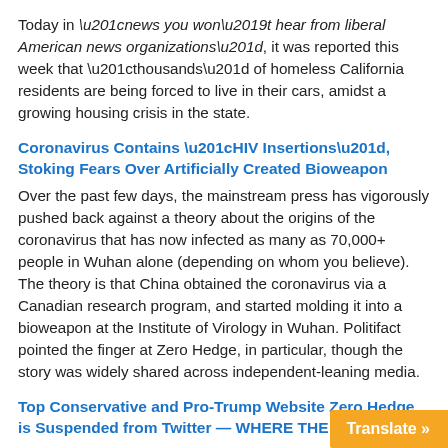Today in "news you won't hear from liberal American news organizations", it was reported this week that "thousands" of homeless California residents are being forced to live in their cars, amidst a growing housing crisis in the state.
Coronavirus Contains “HIV Insertions”, Stoking Fears Over Artificially Created Bioweapon
Over the past few days, the mainstream press has vigorously pushed back against a theory about the origins of the coronavirus that has now infected as many as 70,000+ people in Wuhan alone (depending on whom you believe). The theory is that China obtained the coronavirus via a Canadian research program, and started molding it into a bioweapon at the Institute of Virology in Wuhan. Politifact pointed the finger at Zero Hedge, in particular, though the story was widely shared across independent-leaning media.
Top Conservative and Pro-Trump Website Zero Hedge is Suspended from Twitter — WHERE THE HE...
The tech giants Google, Facebook and Twit...